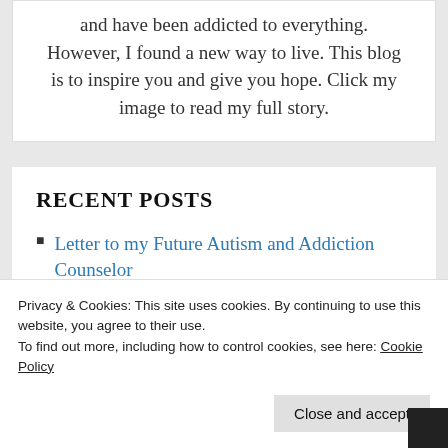and have been addicted to everything. However, I found a new way to live. This blog is to inspire you and give you hope. Click my image to read my full story.
RECENT POSTS
Letter to my Future Autism and Addiction Counselor
From Addiction to Prana Energy
Privacy & Cookies: This site uses cookies. By continuing to use this website, you agree to their use.
To find out more, including how to control cookies, see here: Cookie Policy
Close and accept